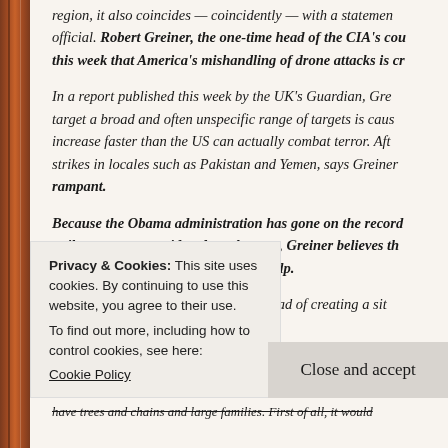region, it also coincides — coincidently — with a statement official. Robert Greiner, the one-time head of the CIA's cou this week that America's mishandling of drone attacks is cr
In a report published this week by the UK's Guardian, Gre target a broad and often unspecific range of targets is caus increase faster than the US can actually combat terror. Aft strikes in locales such as Pakistan and Yemen, says Greiner rampant.
Because the Obama administration has gone on the record strike zone are considered combatants, Greiner believes th at a rate that repeated strikes won't help.
"We have gone a long way down the road of creating a sit
Privacy & Cookies: This site uses cookies. By continuing to use this website, you agree to their use.
To find out more, including how to control cookies, see here:
Cookie Policy
Close and accept
have trees and chains and large families. First of all, it would